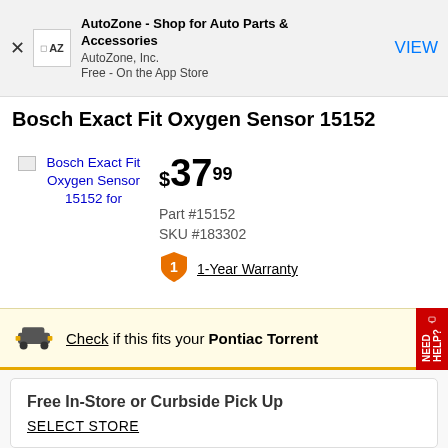[Figure (screenshot): AutoZone app banner with AZ logo icon, app name, company, price info, and VIEW button]
Bosch Exact Fit Oxygen Sensor 15152
[Figure (photo): Broken image placeholder for Bosch Exact Fit Oxygen Sensor 15152 product image with blue link text]
$37.99
Part #15152
SKU #183302
1-Year Warranty
Check if this fits your Pontiac Torrent
Free In-Store or Curbside Pick Up
SELECT STORE